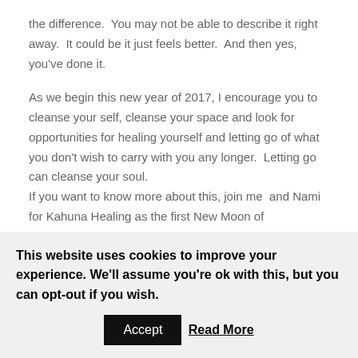the difference.  You may not be able to describe it right away.  It could be it just feels better.  And then yes, you've done it.
As we begin this new year of 2017, I encourage you to cleanse your self, cleanse your space and look for opportunities for healing yourself and letting go of what you don't wish to carry with you any longer.  Letting go can cleanse your soul.
If you want to know more about this, join me  and Nami for Kahuna Healing as the first New Moon of
This website uses cookies to improve your experience. We'll assume you're ok with this, but you can opt-out if you wish.
Accept  Read More